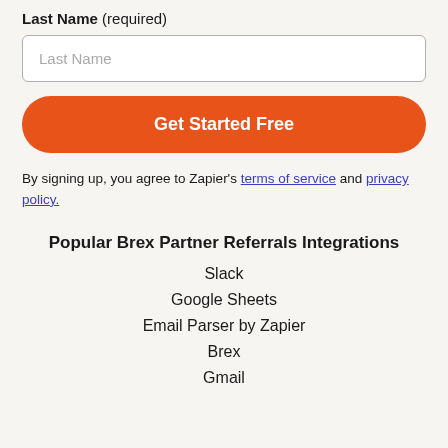Last Name (required)
Last Name
Get Started Free
By signing up, you agree to Zapier's terms of service and privacy policy.
Popular Brex Partner Referrals Integrations
Slack
Google Sheets
Email Parser by Zapier
Brex
Gmail